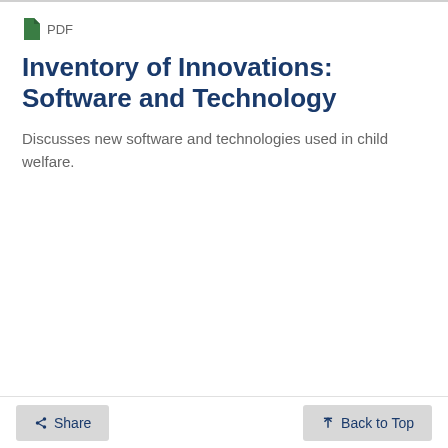PDF
Inventory of Innovations: Software and Technology
Discusses new software and technologies used in child welfare.
[Figure (other): Pagination widget showing page 1 (active/highlighted in dark blue), page 2, Next, and Last navigation buttons stacked vertically]
< Share   ↑ Back to Top